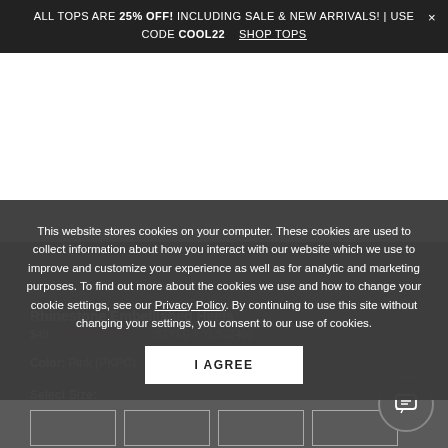ALL TOPS ARE 25% OFF! INCLUDING SALE & NEW ARRIVALS! | USE CODE COOL22  SHOP TOPS  ×
[Figure (photo): White background area representing product image placeholder]
This website stores cookies on your computer. These cookies are used to collect information about how you interact with our website which we use to improve and customize your experience as well as for analytic and marketing purposes. To find out more about the cookies we use and how to change your cookie settings, see our Privacy Policy. By continuing to use this site without changing your settings, you consent to our use of cookies.
I AGREE
Rhinestone Embellished Heels
$49   On Sale $39.99   STYLE # YLS22400
Color: Pink (PKPC)
Select Size: